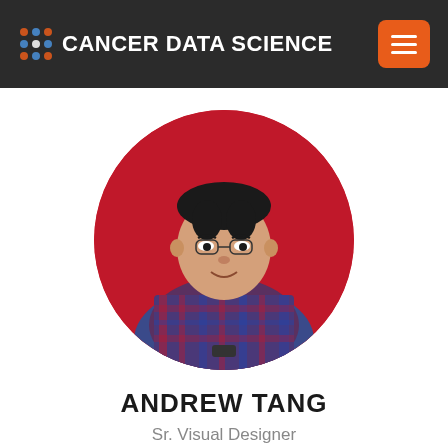CANCER DATA SCIENCE
[Figure (photo): Circular profile photo of Andrew Tang against a red background, wearing a plaid shirt]
ANDREW TANG
Sr. Visual Designer
[Figure (infographic): Three social media icon buttons: GitHub (grey), Google (grey), LinkedIn (dark/black)]